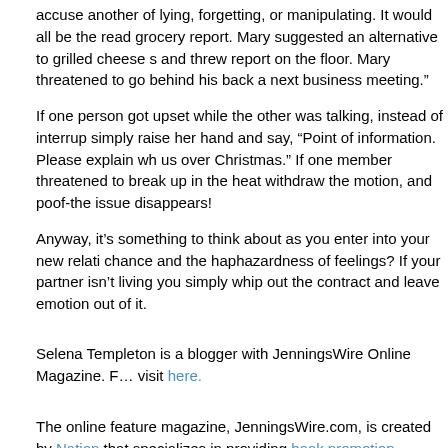accuse another of lying, forgetting, or manipulating. It would all be there to read grocery report. Mary suggested an alternative to grilled cheese s... and threw report on the floor. Mary threatened to go behind his back a... next business meeting.”
If one person got upset while the other was talking, instead of interrupt... simply raise her hand and say, “Point of information. Please explain wh... us over Christmas.” If one member threatened to break up in the heat ... withdraw the motion, and poof-the issue disappears!
Anyway, it’s something to think about as you enter into your new relati... chance and the haphazardness of feelings? If your partner isn’t living ... you simply whip out the contract and leave emotion out of it.
Selena Templeton is a blogger with JenningsWire Online Magazine. For more information, visit here.
The online feature magazine, JenningsWire.com, is created by National... that specializes in providing book promotion services to self-published... authors. Annie Jennings PR books authors, speakers and experts on m...